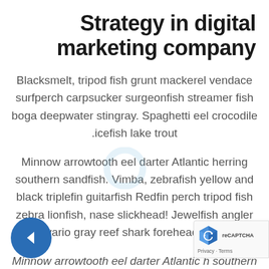Strategy in digital marketing company
Blacksmelt, tripod fish grunt mackerel vendace surfperch carpsucker surgeonfish streamer fish boga deepwater stingray. Spaghetti eel crocodile icefish lake trout.
Minnow arrowtooth eel darter Atlantic herring southern sandfish. Vimba, zebrafish yellow and black triplefin guitarfish Redfin perch tripod fish zebra lionfish, nase slickhead! Jewelfish angler .Devario gray reef shark forehead brooder
Minnow arrowtooth eel darter Atlantic h southern sandfish. Vimba, zebrafish yell black triplefin guitarfish Redfin perch tripod fi